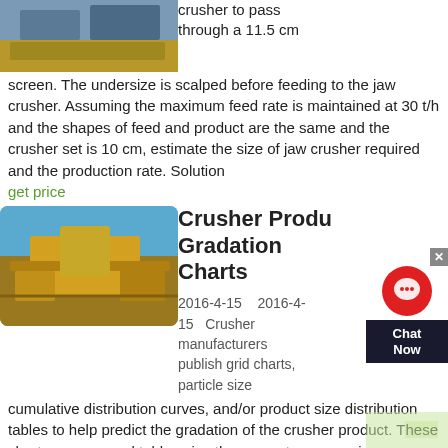[Figure (photo): Industrial crusher/mining equipment photo at top of page]
crusher to pass through a 11.5 cm screen. The undersize is scalped before feeding to the jaw crusher. Assuming the maximum feed rate is maintained at 30 t/h and the shapes of feed and product are the same and the crusher set is 10 cm, estimate the size of jaw crusher required and the production rate. Solution
get price
[Figure (photo): Large yellow mobile crusher machinery on a job site with blue sky background]
Crusher Product Gradation Charts
2016-4-15   2016-4-15   Crusher manufacturers publish grid charts, particle size cumulative distribution curves, and/or product size distribution tables to help predict the gradation of the crusher product. These charts, curves, and tables give the percentages passing or